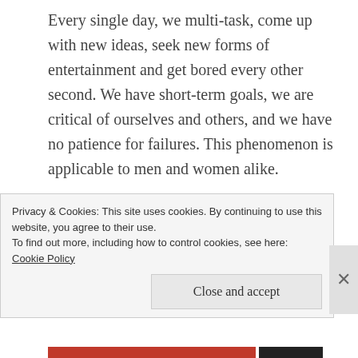Every single day, we multi-task, come up with new ideas, seek new forms of entertainment and get bored every other second. We have short-term goals, we are critical of ourselves and others, and we have no patience for failures. This phenomenon is applicable to men and women alike.
The Woman Approach:
We, women, set ourselves ambitious goals of career, free-time optimization (hobbies, clothes, sports, save-the-world, etc.) and marriage to the love of our
Privacy & Cookies: This site uses cookies. By continuing to use this website, you agree to their use.
To find out more, including how to control cookies, see here: Cookie Policy
Close and accept